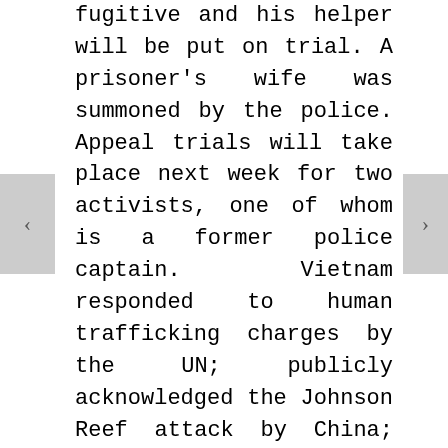fugitive and his helper will be put on trial. A prisoner's wife was summoned by the police. Appeal trials will take place next week for two activists, one of whom is a former police captain. Vietnam responded to human trafficking charges by the UN; publicly acknowledged the Johnson Reef attack by China; and returned a sacred relic to a revered monument by the Saigon River. Many activists were harassed and prevented from attending an event held by the Ukraine Embassy in Hanoi. Villagers in Lao Cai Province protesting a hydropower plant were attacked by thugs. Coffee growers in the highlands protested against land grabs. Vietnam complained about jailed activist Pham Doan Trang receiving a prize from the